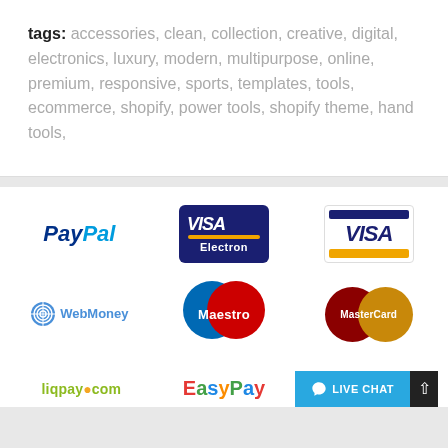tags: accessories, clean, collection, creative, digital, electronics, luxury, modern, multipurpose, online, premium, responsive, sports, templates, tools, ecommerce, shopify, power tools, shopify theme, hand tools,
[Figure (logo): Payment method logos: PayPal, VISA Electron, VISA, WebMoney, Maestro, MasterCard, liqpay.com, EasyPay, Live Chat button]